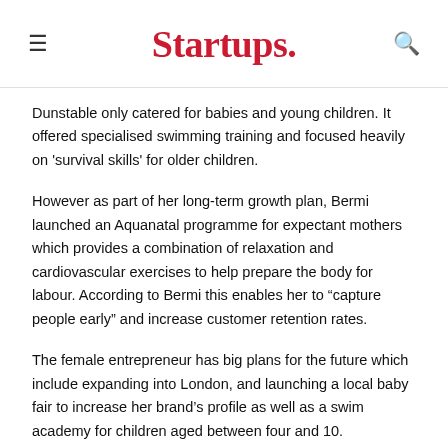Startups.
Dunstable only catered for babies and young children. It offered specialised swimming training and focused heavily on 'survival skills' for older children.
However as part of her long-term growth plan, Bermi launched an Aquanatal programme for expectant mothers which provides a combination of relaxation and cardiovascular exercises to help prepare the body for labour. According to Bermi this enables her to “capture people early” and increase customer retention rates.
The female entrepreneur has big plans for the future which include expanding into London, and launching a local baby fair to increase her brand’s profile as well as a swim academy for children aged between four and 10.